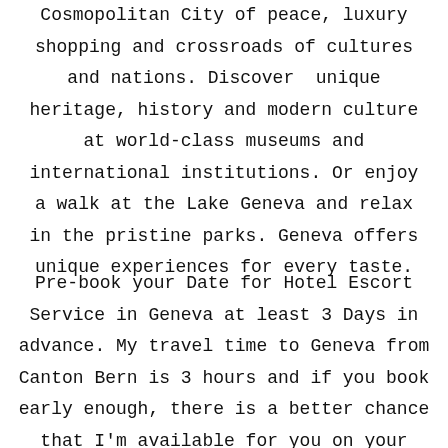Cosmopolitan City of peace, luxury shopping and crossroads of cultures and nations. Discover  unique heritage, history and modern culture at world-class museums and international institutions. Or enjoy a walk at the Lake Geneva and relax in the pristine parks. Geneva offers unique experiences for every taste.
Pre-book your Date for Hotel Escort Service in Geneva at least 3 Days in advance. My travel time to Geneva from Canton Bern is 3 hours and if you book early enough, there is a better chance that I'm available for you on your preferred date. For Geneva Escort I ask